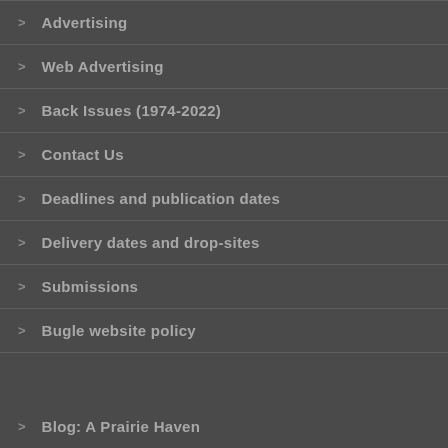Advertising
Web Advertising
Back Issues (1974-2022)
Contact Us
Deadlines and publication dates
Delivery dates and drop-sites
Submissions
Bugle website policy
Blog: A Prairie Haven